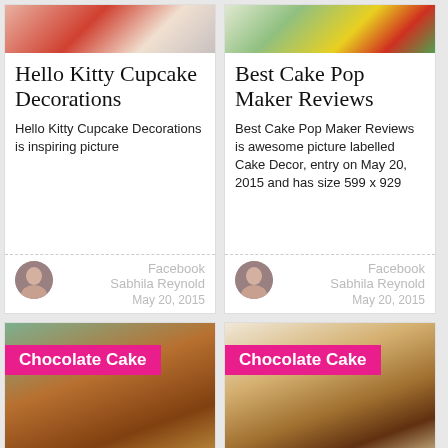[Figure (photo): Hello Kitty cupcake decoration image at top of card]
Hello Kitty Cupcake Decorations
Hello Kitty Cupcake Decorations is inspiring picture
Facebook
Sabhila Reynold
May 20, 2015
[Figure (photo): Cake pop maker image with colorful M&M decorations at top of card]
Best Cake Pop Maker Reviews
Best Cake Pop Maker Reviews is awesome picture labelled Cake Decor, entry on May 20, 2015 and has size 599 x 929
Facebook
Sabhila Reynold
May 20, 2015
[Figure (photo): Chocolate rice crispy cupcakes in blue paper cups with 'Chocolate Cake' pink label overlay]
[Figure (photo): Assorted chocolate gift box with 'Chocolate Cake' pink label overlay]